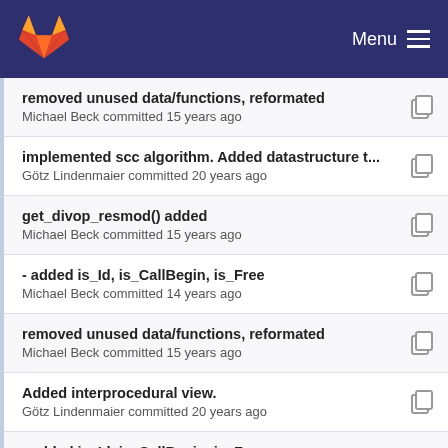Menu
removed unused data/functions, reformated
Michael Beck committed 15 years ago
implemented scc algorithm. Added datastructure t...
Götz Lindenmaier committed 20 years ago
get_divop_resmod() added
Michael Beck committed 15 years ago
- added is_Id, is_CallBegin, is_Free
Michael Beck committed 14 years ago
removed unused data/functions, reformated
Michael Beck committed 15 years ago
Added interprocedural view.
Götz Lindenmaier committed 20 years ago
- added is_Id, is_CallBegin, is_Free
Michael Beck committed 14 years ago
Imprint